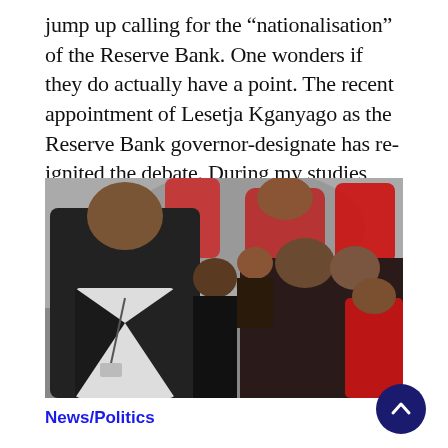jump up calling for the “nationalisation” of the Reserve Bank. One wonders if they do actually have a point. The recent appointment of Lesetja Kganyago as the Reserve Bank governor-designate has re-ignited the debate. During my studies […]
[Figure (photo): A man in a dark suit walks in the foreground while a crowd of people, many dressed in red, are visible behind him.]
News/Politics